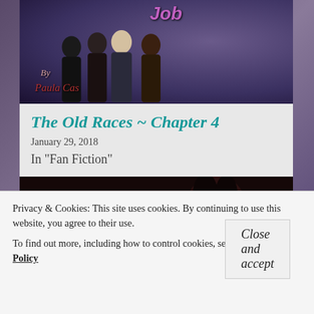[Figure (photo): Book cover / fan fiction banner image showing the title 'Job' at top with star-spangled background, group of four people (three men and one woman) in center, with cursive text 'By Paula Cas' at bottom left on a dark purple/blue background.]
The Old Races ~ Chapter 4
January 29, 2018
In "Fan Fiction"
[Figure (photo): Dark moody photo showing a person with long dark hair and intense eyes, mostly obscured in shadow with dark reddish-brown tones.]
Privacy & Cookies: This site uses cookies. By continuing to use this website, you agree to their use.
To find out more, including how to control cookies, see here: Cookie Policy
Close and accept